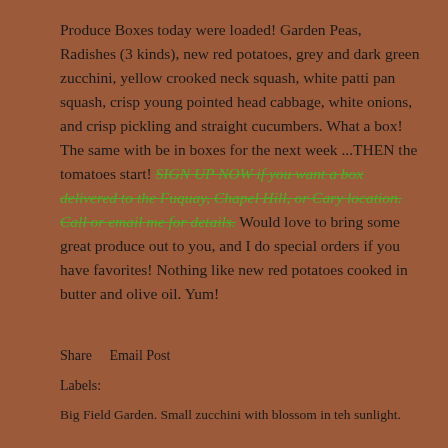Produce Boxes today were loaded! Garden Peas, Radishes (3 kinds), new red potatoes, grey and dark green zucchini, yellow crooked neck squash, white patti pan squash, crisp young pointed head cabbage, white onions, and crisp pickling and straight cucumbers. What a box! The same with be in boxes for the next week ...THEN the tomatoes start! SIGN UP NOW if you want a box delivered to the Fuquay, Chapel Hill, or Cary location. Call or email me for details. Would love to bring some great produce out to you, and I do special orders if you have favorites! Nothing like new red potatoes cooked in butter and olive oil. Yum!
Share   Email Post
Labels:
Big Field Garden. Small zucchini with blossom in teh sunlight.